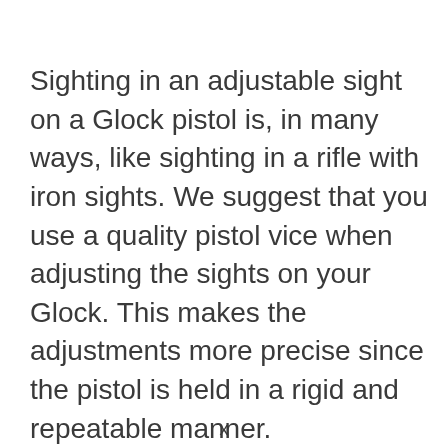Sighting in an adjustable sight on a Glock pistol is, in many ways, like sighting in a rifle with iron sights. We suggest that you use a quality pistol vice when adjusting the sights on your Glock. This makes the adjustments more precise since the pistol is held in a rigid and repeatable manner.
x